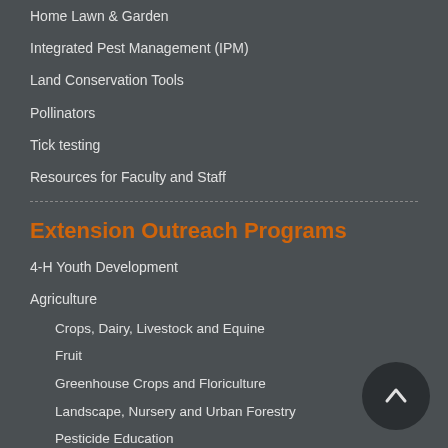Home Lawn & Garden
Integrated Pest Management (IPM)
Land Conservation Tools
Pollinators
Tick testing
Resources for Faculty and Staff
Extension Outreach Programs
4-H Youth Development
Agriculture
Crops, Dairy, Livestock and Equine
Fruit
Greenhouse Crops and Floriculture
Landscape, Nursery and Urban Forestry
Pesticide Education